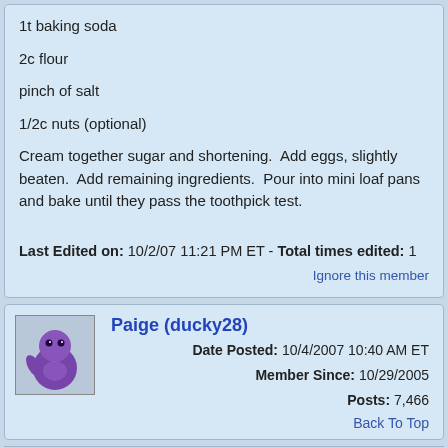1t baking soda
2c flour
pinch of salt
1/2c nuts (optional)
Cream together sugar and shortening.  Add eggs, slightly beaten.  Add remaining ingredients.  Pour into mini loaf pans and bake until they pass the toothpick test.
Last Edited on: 10/2/07 11:21 PM ET - Total times edited: 1
Ignore this member
Paige (ducky28)  Date Posted: 10/4/2007 10:40 AM ET  Member Since: 10/29/2005  Posts: 7,466
Back To Top